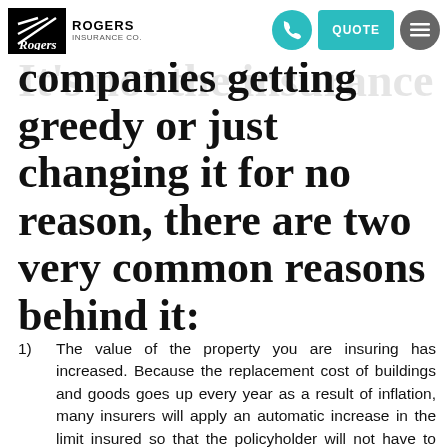Rogers Insurance — navigation header with logo, phone icon, QUOTE button, and menu icon
It's not the insurance companies getting greedy or just changing it for no reason, there are two very common reasons behind it:
1)    The value of the property you are insuring has increased. Because the replacement cost of buildings and goods goes up every year as a result of inflation, many insurers will apply an automatic increase in the limit insured so that the policyholder will not have to worry about adjusting it themselves. This increase is tied to the